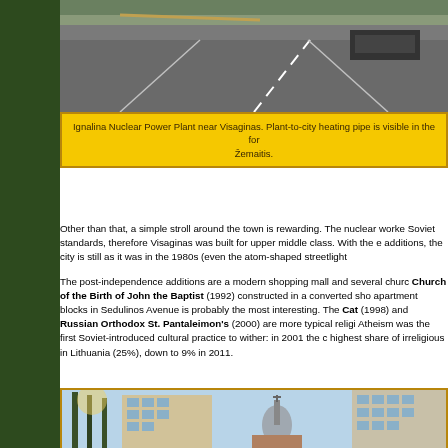[Figure (photo): Aerial/ground view of road near Ignalina Nuclear Power Plant near Visaginas, showing asphalt road with lane markings and a vehicle in the background]
Ignalina Nuclear Power Plant near Visaginas. Plant-to-city heating pipe is visible in the fo... Žemaitis.
Other than that, a simple stroll around the town is rewarding. The nuclear worke... Soviet standards, therefore Visaginas was built for upper middle class. With the e... additions, the city is still as it was in the 1980s (even the atom-shaped streetlight...
The post-independence additions are a modern shopping mall and several chur... Church of the Birth of John the Baptist (1992) constructed in a converted sho... apartment blocks in Sedulinos Avenue is probably the most interesting. The Cat... (1998) and Russian Orthodox St. Pantaleimon's (2000) are more typical religi... Atheism was the first Soviet-introduced cultural practice to wither: in 2001 the c... highest share of irreligious in Lithuania (25%), down to 9% in 2011.
[Figure (photo): Street scene in Visaginas showing Soviet-era apartment blocks, tall pine trees, and a Russian Orthodox church with onion dome and cross in the foreground]